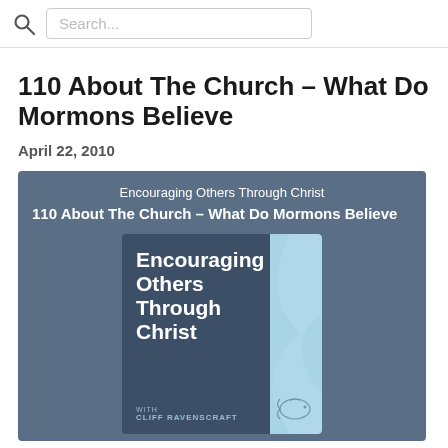Search...
110 About The Church – What Do Mormons Believe
April 22, 2010
[Figure (illustration): Podcast card with slate-blue background. Shows 'Encouraging Others Through Christ' as subtitle and '110 About The Church – What Do Mormons Believe' as episode title. A podcast album art image shows 'Encouraging Others Through Christ with Cliff Ravenscraft' text on dark blue background with a light blue decorative stripe and dove illustration.]